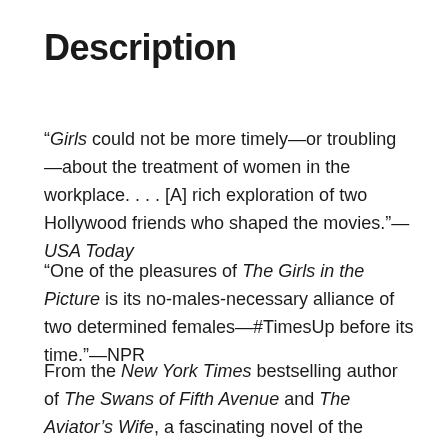Description
“Girls could not be more timely—or troubling—about the treatment of women in the workplace. . . . [A] rich exploration of two Hollywood friends who shaped the movies.”—USA Today
“One of the pleasures of The Girls in the Picture is its no-males-necessary alliance of two determined females—#TimesUp before its time.”—NPR
From the New York Times bestselling author of The Swans of Fifth Avenue and The Aviator’s Wife, a fascinating novel of the friendship and creative partnership between two of Hollywood’s earliest